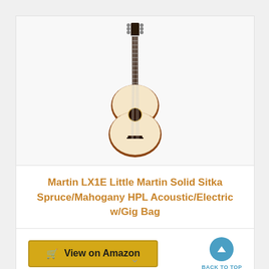[Figure (photo): Acoustic/electric guitar standing upright against white background — natural spruce top with mahogany sides, dark fretboard and headstock]
Martin LX1E Little Martin Solid Sitka Spruce/Mahogany HPL Acoustic/Electric w/Gig Bag
View on Amazon
BACK TO TOP